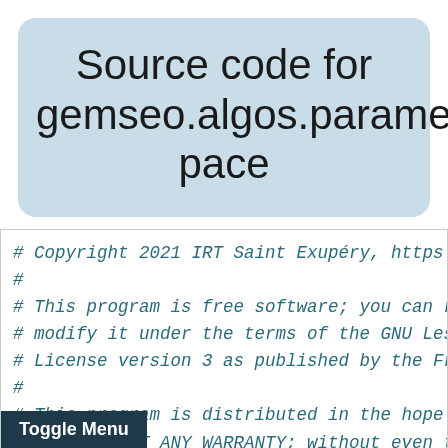Source code for gemseo.algos.parameter_space
# Copyright 2021 IRT Saint Exupéry, https://www.
#
# This program is free software; you can redistr
# modify it under the terms of the GNU Lesser Ge
# License version 3 as published by the Free Sot
#
# This program is distributed in the hope that i
# but WITHOUT ANY WARRANTY; without even the imp
# MERCHANTABILITY or FITNESS FOR A PARTICULAR PL
# Lesser General Public License for more details
#
# You should have received a copy of the GNU Les
# along with this program; if not, write to the
# Franklin Street, Fifth Floor, Boston,
Toggle Menu